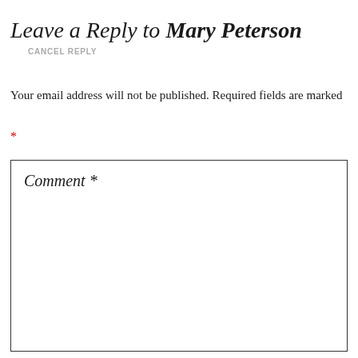Leave a Reply to Mary Peterson  CANCEL REPLY
Your email address will not be published. Required fields are marked *
Comment *